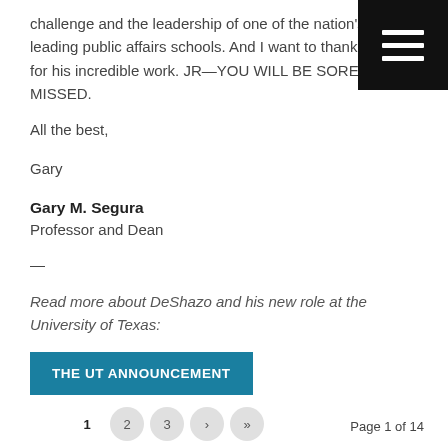challenge and the leadership of one of the nation's leading public affairs schools. And I want to thank JR for his incredible work. JR—YOU WILL BE SORELY MISSED.
All the best,
Gary
Gary M. Segura
Professor and Dean
—
Read more about DeShazo and his new role at the University of Texas:
THE UT ANNOUNCEMENT
1  2  3  ›  »   Page 1 of 14